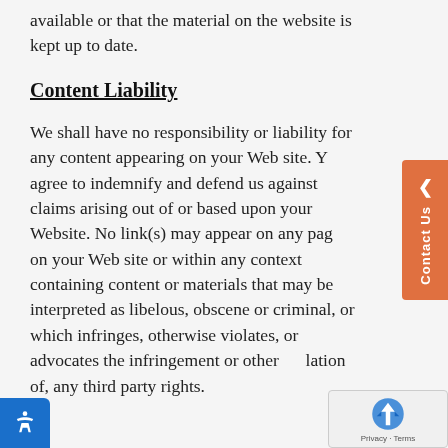available or that the material on the website is kept up to date.
Content Liability
We shall have no responsibility or liability for any content appearing on your Web site. You agree to indemnify and defend us against claims arising out of or based upon your Website. No link(s) may appear on any page on your Web site or within any context containing content or materials that may be interpreted as libelous, obscene or criminal, or which infringes, otherwise violates, or advocates the infringement or other violation of, any third party rights.